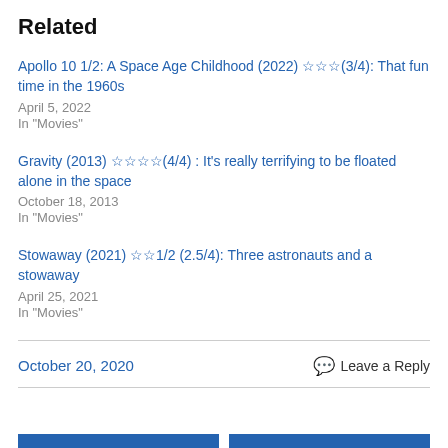Related
Apollo 10 1/2: A Space Age Childhood (2022) ☆☆☆(3/4): That fun time in the 1960s
April 5, 2022
In "Movies"
Gravity (2013) ☆☆☆☆(4/4) : It's really terrifying to be floated alone in the space
October 18, 2013
In "Movies"
Stowaway (2021) ☆☆1/2 (2.5/4): Three astronauts and a stowaway
April 25, 2021
In "Movies"
October 20, 2020
💬 Leave a Reply